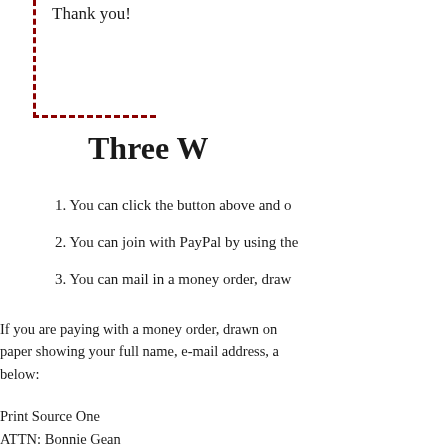Thank you!
Three W
1. You can click the button above and o
2. You can join with PayPal by using the
3. You can mail in a money order, draw
If you are paying with a money order, drawn on paper showing your full name, e-mail address, a below:
Print Source One
ATTN: Bonnie Gean
PO BOX 183225
Shelby Township, Michigan 48318
Once I receive your money order payment, I will